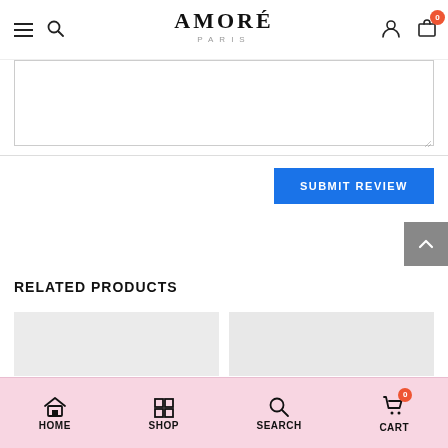AMORÉ PARIS — navigation header with hamburger, search, logo, account, cart (0)
[Figure (screenshot): Textarea input field for review submission]
[Figure (screenshot): SUBMIT REVIEW button (blue)]
[Figure (screenshot): Back to top button (grey arrow up)]
RELATED PRODUCTS
[Figure (screenshot): Two product card placeholders shown at bottom]
HOME   SHOP   SEARCH   CART (0)